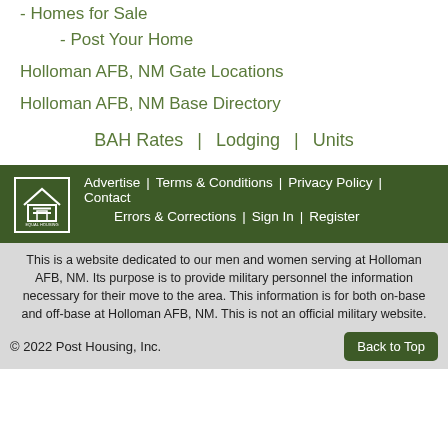- Homes for Sale
- Post Your Home
Holloman AFB, NM Gate Locations
Holloman AFB, NM Base Directory
BAH Rates | Lodging | Units
Advertise | Terms & Conditions | Privacy Policy | Contact | Errors & Corrections | Sign In | Register
This is a website dedicated to our men and women serving at Holloman AFB, NM. Its purpose is to provide military personnel the information necessary for their move to the area. This information is for both on-base and off-base at Holloman AFB, NM. This is not an official military website.
© 2022 Post Housing, Inc.